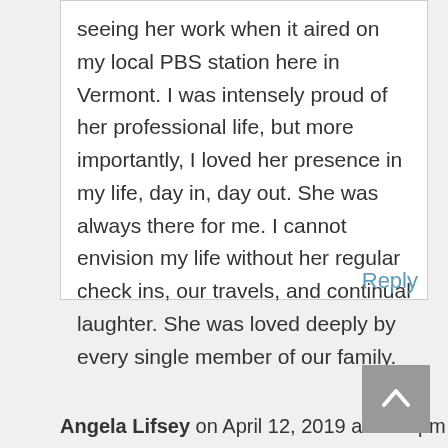seeing her work when it aired on my local PBS station here in Vermont. I was intensely proud of her professional life, but more importantly, I loved her presence in my life, day in, day out. She was always there for me. I cannot envision my life without her regular check ins, our travels, and continual laughter. She was loved deeply by every single member of our family.
Reply
Angela Lifsey on April 12, 2019 at 4:29 pm